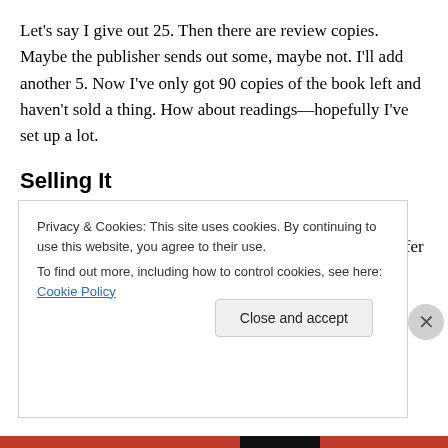Let's say I give out 25. Then there are review copies. Maybe the publisher sends out some, maybe not. I'll add another 5. Now I've only got 90 copies of the book left and haven't sold a thing. How about readings—hopefully I've set up a lot.
Selling It
Selling books sometimes feels like selling Girl Scout Cookies door-to-door, and the only flavor you have to offer is Trios. Selling books at readings can be hard. In 2018 I
Privacy & Cookies: This site uses cookies. By continuing to use this website, you agree to their use.
To find out more, including how to control cookies, see here: Cookie Policy
Close and accept